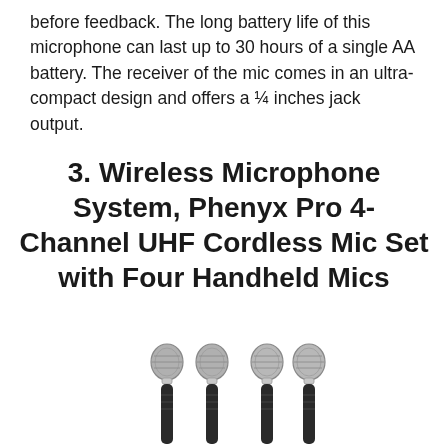before feedback. The long battery life of this microphone can last up to 30 hours of a single AA battery. The receiver of the mic comes in an ultra-compact design and offers a ¼ inches jack output.
3. Wireless Microphone System, Phenyx Pro 4-Channel UHF Cordless Mic Set with Four Handheld Mics
[Figure (photo): Four handheld wireless microphones shown in two pairs, with metallic mesh heads and black handles.]